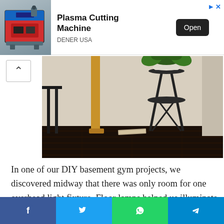[Figure (photo): Advertisement banner for Plasma Cutting Machine by DENER USA with machine image and Open button]
[Figure (photo): Interior room photo showing dark wood floor, wooden desk leg, metal plant stand with fern, and a book on the floor]
In one of our DIY basement gym projects, we discovered midway that there was only room for one overhead light fixture. Floor lamps helped us illuminate the dark depths of the gym that were beyond reach.
[Figure (infographic): Social share bar with Facebook, Twitter, WhatsApp, and Telegram icons]